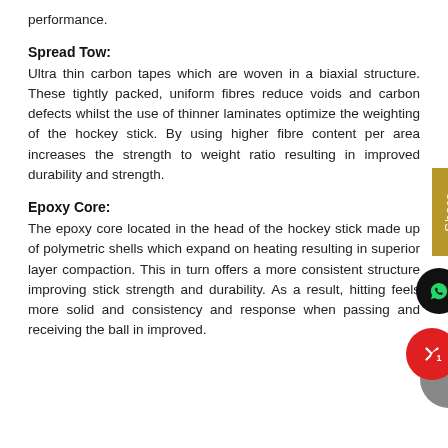performance.
Spread Tow:
Ultra thin carbon tapes which are woven in a biaxial structure. These tightly packed, uniform fibres reduce voids and carbon defects whilst the use of thinner laminates optimize the weighting of the hockey stick. By using higher fibre content per area increases the strength to weight ratio resulting in improved durability and strength.
Epoxy Core:
The epoxy core located in the head of the hockey stick made up of polymetric shells which expand on heating resulting in superior layer compaction. This in turn offers a more consistent structure improving stick strength and durability. As a result, hitting feels more solid and consistency and response when passing and receiving the ball in improved.